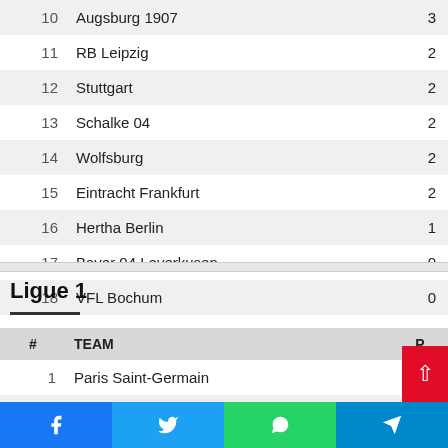| # | TEAM | P |
| --- | --- | --- |
| 10 | Augsburg 1907 | 3 |
| 11 | RB Leipzig | 2 |
| 12 | Stuttgart | 2 |
| 13 | Schalke 04 | 2 |
| 14 | Wolfsburg | 2 |
| 15 | Eintracht Frankfurt | 2 |
| 16 | Hertha Berlin | 1 |
| 17 | Bayer 04 Leverkusen | 0 |
| 18 | VFL Bochum | 0 |
Ligue 1
| # | TEAM | P |
| --- | --- | --- |
| 1 | Paris Saint-Germain |  |
| 2 | Lens | 7 |